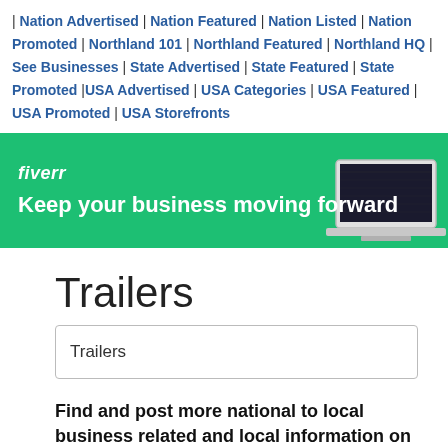| Nation Advertised | Nation Featured | Nation Listed | Nation Promoted | Northland 101 | Northland Featured | Northland HQ | See Businesses | State Advertised | State Featured | State Promoted |USA Advertised | USA Categories | USA Featured | USA Promoted | USA Storefronts
[Figure (other): Fiverr advertisement banner with green background, fiverr logo in white italic text, tagline 'Keep your business moving forward' in white bold text, and a partial laptop image on the right side]
Trailers
Trailers
Find and post more national to local business related and local information on these digital